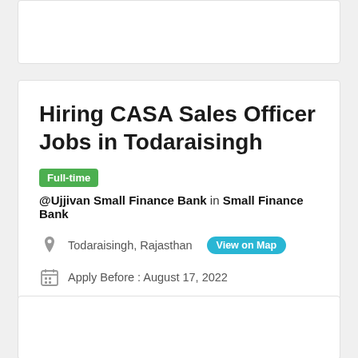Hiring CASA Sales Officer Jobs in Todaraisingh
Full-time @Ujjivan Small Finance Bank in Small Finance Bank
Todaraisingh, Rajasthan  View on Map
Apply Before : August 17, 2022
Salary: ₹340,000.00 - ₹207,000.00 / Yearly
SHARE: